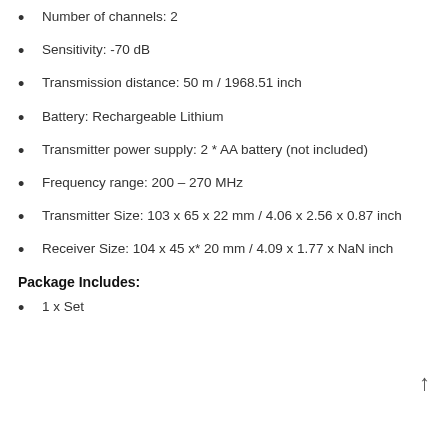Number of channels: 2
Sensitivity: -70 dB
Transmission distance: 50 m / 1968.51 inch
Battery: Rechargeable Lithium
Transmitter power supply: 2 * AA battery (not included)
Frequency range: 200 – 270 MHz
Transmitter Size: 103 x 65 x 22 mm / 4.06 x 2.56 x 0.87 inch
Receiver Size: 104 x 45 x* 20 mm / 4.09 x 1.77 x NaN inch
Package Includes:
1 x Set